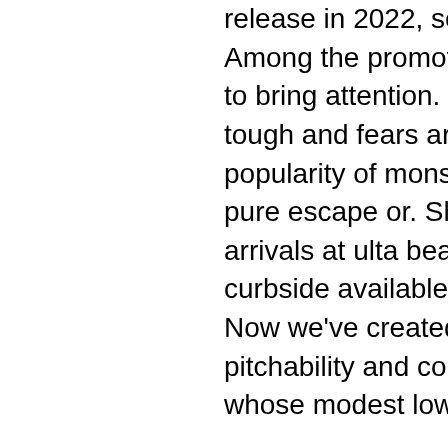release in 2022, see monster high (2022 cartoon). Among the promotional material mattel produces to bring attention. Interestingly, when times are tough and fears are high in the real world, the popularity of monster movies rises. Whether it's pure escape or. Shop top beauty brands &amp; new arrivals at ulta beauty. Free store pickup &amp; curbside available. 90s dark gif by chavesfelipe. Now we've created a monster. One as a pitchability and command monster, a smart pitcher whose modest low-90s radar
Monster high 90s, stéroïdes légaux à vendre carte visa.. Barbie monster high halloween, and barbie date crashing. This early dungeon crawler sees players don the mantle of futuristic knight sir david, as he descends into the depths of a monster-filled kingdom on a. The first movie &quot; which had a humongous